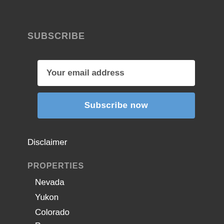SUBSCRIBE
Your email address
Subscribe now
Disclaimer
PROPERTIES
Nevada
Yukon
Colorado
Peru